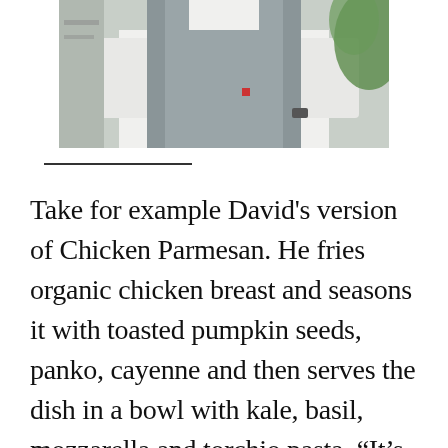[Figure (photo): A person wearing a white chef's shirt and grey apron, photographed from the chest down, standing in what appears to be a kitchen or outdoor setting.]
Take for example David's version of Chicken Parmesan. He fries organic chicken breast and seasons it with toasted pumpkin seeds, panko, cayenne and then serves the dish in a bowl with kale, basil, mozzarella and torchio pasta. “It’s spicy and sweet and crunchy,” he explained,